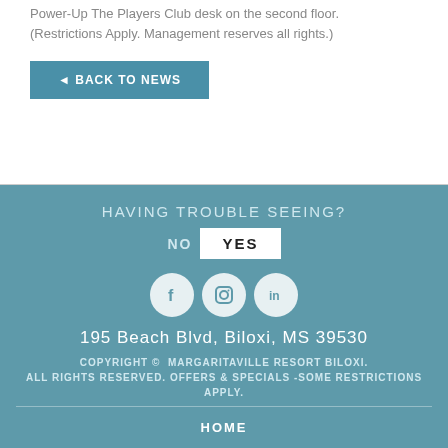Power-Up The Players Club desk on the second floor. (Restrictions Apply. Management reserves all rights.)
◄ BACK TO NEWS
HAVING TROUBLE SEEING?
NO  YES
[Figure (illustration): Three social media icons: Facebook (f), Instagram (camera), LinkedIn (in), displayed as white circles on teal background]
195 Beach Blvd, Biloxi, MS 39530
COPYRIGHT © MARGARITAVILLE RESORT BILOXI. ALL RIGHTS RESERVED. OFFERS & SPECIALS -SOME RESTRICTIONS APPLY.
HOME
DIRECTIONS